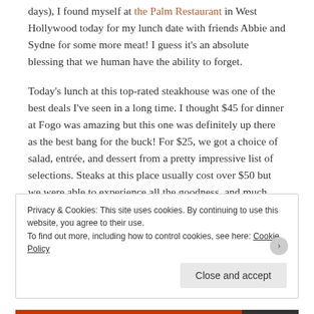days), I found myself at the Palm Restaurant in West Hollywood today for my lunch date with friends Abbie and Sydne for some more meat!  I guess it's an absolute blessing that we human have the ability to forget.
Today's lunch at this top-rated steakhouse was one of the best deals I've seen in a long time. I thought $45 for dinner at Fogo was amazing but this one was definitely up there as the best bang for the buck! For $25, we got a choice of salad, entrée, and dessert from a pretty impressive list of selections. Steaks at this place usually cost over $50 but we were able to experience all the goodness, and much more, for a fraction of the price. The portion may be smaller but it was still very satisfying!
Privacy & Cookies: This site uses cookies. By continuing to use this website, you agree to their use.
To find out more, including how to control cookies, see here: Cookie Policy